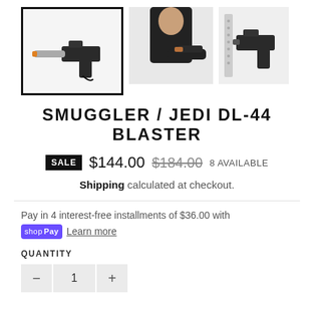[Figure (photo): Three product photos of a DL-44 blaster prop: left image selected with black border showing blaster on white background, center image showing person in black jacket holding blaster, right image showing side view of blaster on white background]
SMUGGLER / JEDI DL-44 BLASTER
SALE $144.00 $184.00 8 AVAILABLE
Shipping calculated at checkout.
Pay in 4 interest-free installments of $36.00 with shop Pay Learn more
QUANTITY
- 1 +